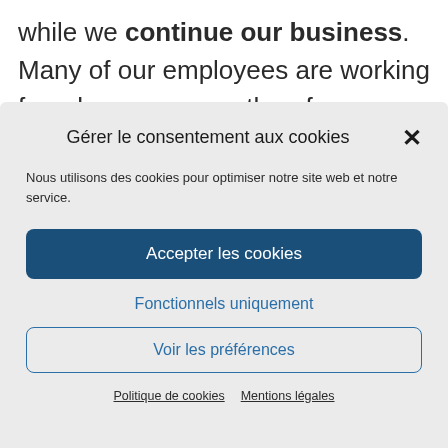while we continue our business. Many of our employees are working from home, we can therefore continue to answer your requests in
Gérer le consentement aux cookies
Nous utilisons des cookies pour optimiser notre site web et notre service.
Accepter les cookies
Fonctionnels uniquement
Voir les préférences
Politique de cookies   Mentions légales